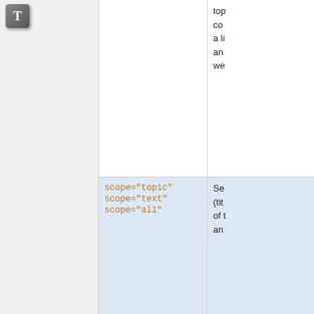[Figure (other): Gray T icon/button in top-left sidebar]
| Attribute value | Description |
| --- | --- |
| (partial row top) | top
co
a li
an
we |
| scope="topic"
scope="text"
scope="all" | Se
(tit
of t
an |
| type="keyword"
type="word"
type="literal"
type="regex"
type="query" | Co
sea
wh
or
—
key
like
soa
-sh
wo
ex
"sc |